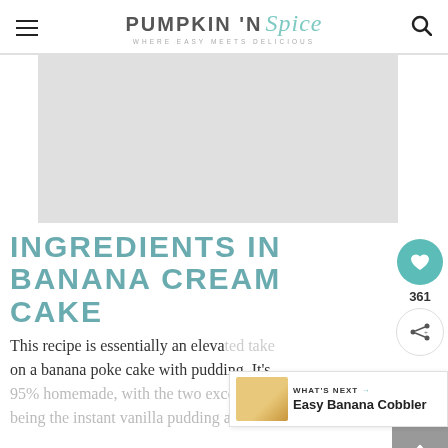PUMPKIN 'N Spice — WHERE EASY MEETS DELICIOUS
[Figure (photo): Large food photo placeholder (light gray rectangle), likely showing banana cream cake]
INGREDIENTS IN BANANA CREAM CAKE
This recipe is essentially an elevated take on a banana poke cake with pudding. It's 95% homemade, with the two exceptions being the instant vanilla pudding and...